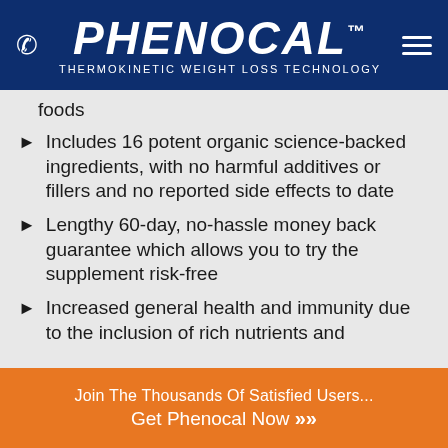PHENOCAL™ THERMOKINETIC WEIGHT LOSS TECHNOLOGY
foods
Includes 16 potent organic science-backed ingredients, with no harmful additives or fillers and no reported side effects to date
Lengthy 60-day, no-hassle money back guarantee which allows you to try the supplement risk-free
Increased general health and immunity due to the inclusion of rich nutrients and
Join The Thousands Of Satisfied Users... Get Phenocal Now »